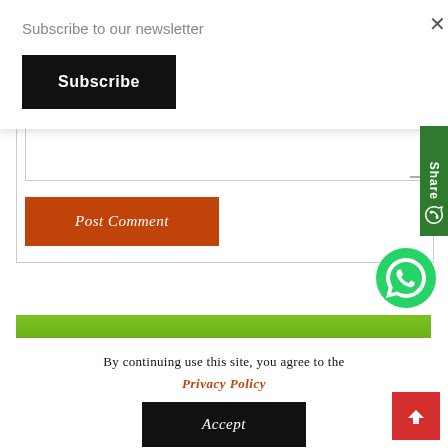Subscribe to our newsletter
Subscribe
×
[Figure (screenshot): Comment textarea box with resize handle]
Post Comment
[Figure (infographic): Green Share button on right side with WhatsApp icon]
[Figure (infographic): WhatsApp floating button (green circle with phone icon)]
[Figure (infographic): Green bar banner section at bottom of page]
By continuing use this site, you agree to the
Privacy Policy
Accept